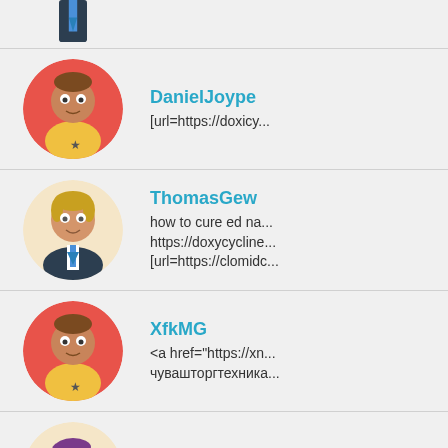[Figure (screenshot): Forum or social feed screenshot showing user avatars with usernames and post snippets. Users shown: partial top user, DanielJoype, ThomasGew, XfkMG, Davidbon, Stevenarest.]
DanielJoype
[url=https://doxicy...
ThomasGew
how to cure ed na... https://doxycycline... [url=https://clomidc...
XfkMG
<a href="https://xn... чувашторгтехника...
Davidbon
https://drugsonline...
Stevenarest
https://doxycycline...